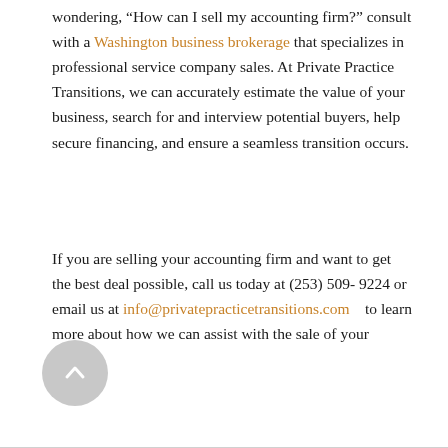wondering, “How can I sell my accounting firm?” consult with a Washington business brokerage that specializes in professional service company sales. At Private Practice Transitions, we can accurately estimate the value of your business, search for and interview potential buyers, help secure financing, and ensure a seamless transition occurs.
If you are selling your accounting firm and want to get the best deal possible, call us today at (253) 509-9224 or email us at info@privatepracticetransitions.com to learn more about how we can assist with the sale of your practice.